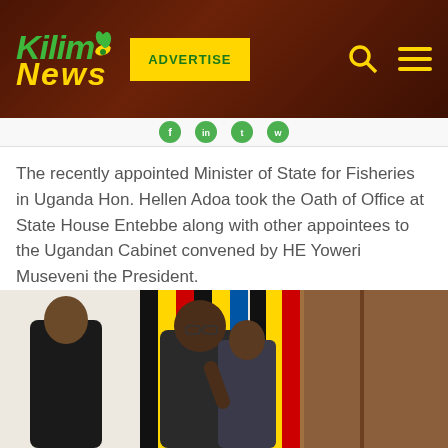Kilimo News — ADVERTISE
The recently appointed Minister of State for Fisheries in Uganda Hon. Hellen Adoa took the Oath of Office at State House Entebbe along with other appointees to the Ugandan Cabinet convened by HE Yoweri Museveni the President.
[Figure (photo): People at a swearing-in ceremony at State House Entebbe. Several individuals standing with Ugandan flags in the background. A woman in the center wearing glasses appears to be taking an oath.]